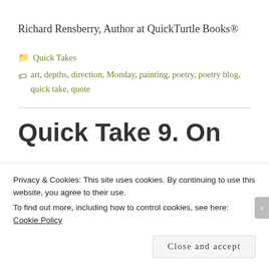Richard Rensberry, Author at QuickTurtle Books®
Quick Takes
art, depths, direction, Monday, painting, poetry, poetry blog, quick take, quote
Quick Take 9. On
Privacy & Cookies: This site uses cookies. By continuing to use this website, you agree to their use.
To find out more, including how to control cookies, see here: Cookie Policy
Close and accept